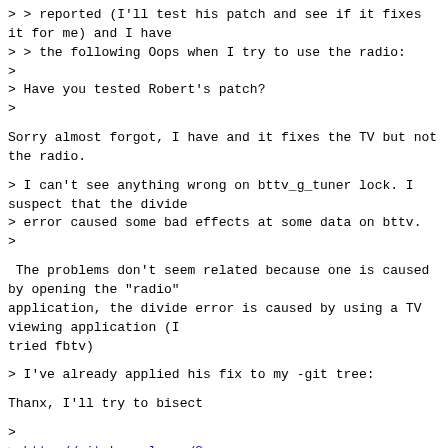> > reported (I'll test his patch and see if it fixes
it for me) and I have
> > the following Oops when I try to use the radio:
>
> Have you tested Robert's patch?
>
Sorry almost forgot, I have and it fixes the TV but not
the radio.
> I can't see anything wrong on bttv_g_tuner lock. I
suspect that the divide
> error caused some bad effects at some data on bttv.
>
The problems don't seem related because one is caused
by opening the "radio"
application, the divide error is caused by using a TV
viewing application (I
tried fbtv)
> I've already applied his fix to my -git tree:
Thanx, I'll try to bisect
>
> http://git.kernel.org/?p=linux/kernel/git/mchehab/v4l-dvb.git
>
> Hopefully, Linus will pull soon the fixes there.